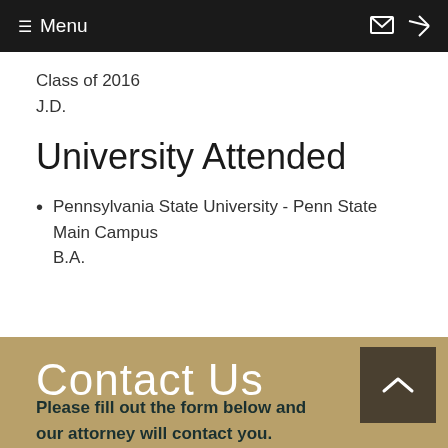≡ Menu
Class of 2016
J.D.
University Attended
Pennsylvania State University - Penn State Main Campus
B.A.
Contact Us
Please fill out the form below and our attorney will contact you.